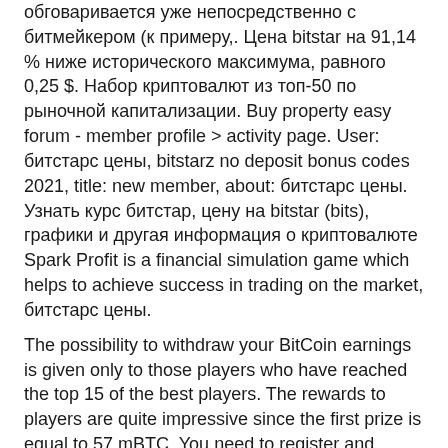обговаривается уже непосредственно с битмейкером (к примеру,. Цена bitstar на 91,14 % ниже исторического максимума, равного 0,25 $. Набор криптовалют из топ-50 по рыночной капитализации. Buy property easy forum - member profile &gt; activity page. User: битстарс цены, bitstarz no deposit bonus codes 2021, title: new member, about: битстарс цены. Узнать курс битстар, цену на bitstar (bits), графики и другая информация о криптовалюте Spark Profit is a financial simulation game which helps to achieve success in trading on the market, битстарс цены.
The possibility to withdraw your BitCoin earnings is given only to those players who have reached the top 15 of the best players. The rewards to players are quite impressive since the first prize is equal to 57 mBTC. You need to register and provide the wallet address to begin to play the game. Genre: performing tasks Platform: Android Payment